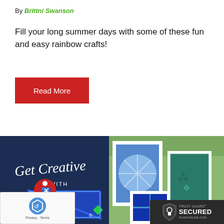By Brittni Swanson
Fill your long summer days with some of these fun and easy rainbow crafts!
Read More
[Figure (photo): Bottom half shows two images side by side: left is a dark navy blue promotional image for 'Get Creative with Gallery Glass' with an accessibility icon circle overlay and a reCAPTCHA widget; right shows framed artwork with blue and teal tie-dye and stencil patterns displayed outdoors against greenery, with a Trust Guard Secured badge for plaidonline.com in the bottom right corner.]